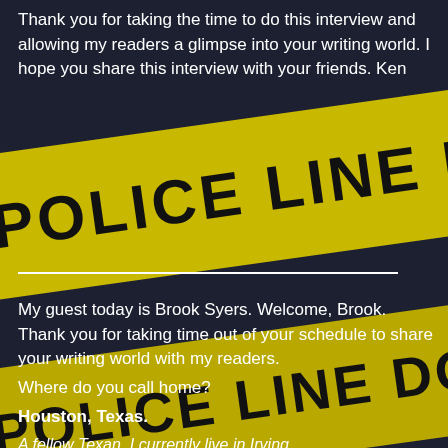Thank you for taking the time to do this interview and allowing my readers a glimpse into your writing world.  I hope you share this interview with your friends.  Ken
[Figure (photo): Police crime scene tape reading 'POLICE LINE DO NOT CROSS' on a dark blurred background, shown twice diagonally across the page]
My guest today is Brook Syers. Welcome, Brook. Thank you for taking time out of your schedule to share your writing world with my readers.
Where do you call home?
Houston, Texas.
A fellow Texan.  I currently live in Irving.